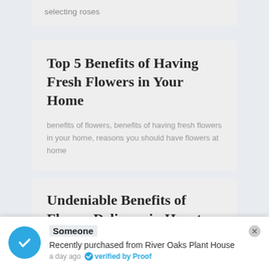selecting roses
Top 5 Benefits of Having Fresh Flowers in Your Home
benefits of flowers, benefits of having fresh flowers in your home, reasons you should have flowers at home
Undeniable Benefits of Flower Delivery in Houston
benefits of flower delivery, benefits of online flower delivery
Someone
Recently purchased from River Oaks Plant House
a day ago  verified by Proof